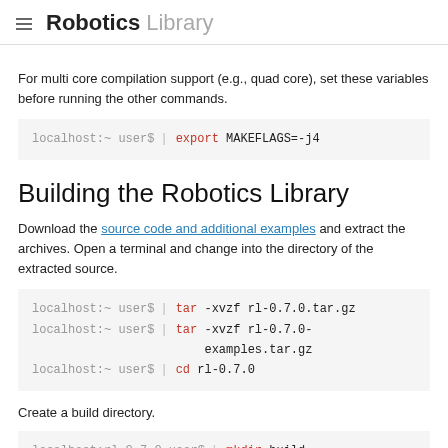Robotics Library
For multi core compilation support (e.g., quad core), set these variables before running the other commands.
localhost:~ user$  |  export MAKEFLAGS=-j4
Building the Robotics Library
Download the source code and additional examples and extract the archives. Open a terminal and change into the directory of the extracted source.
localhost:~ user$  |  tar -xvzf rl-0.7.0.tar.gz
localhost:~ user$  |  tar -xvzf rl-0.7.0-examples.tar.gz
localhost:~ user$  |  cd rl-0.7.0
Create a build directory.
localhost:rl-0.7.0 user$  |  mkdir build